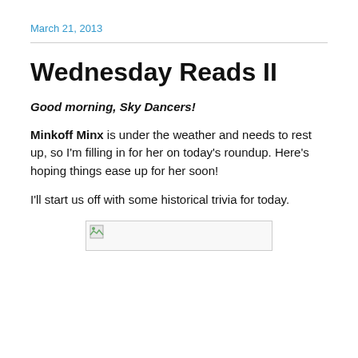March 21, 2013
Wednesday Reads II
Good morning, Sky Dancers!
Minkoff Minx is under the weather and needs to rest up, so I'm filling in for her on today's roundup. Here's hoping things ease up for her soon!
I'll start us off with some historical trivia for today.
[Figure (photo): Broken image placeholder]